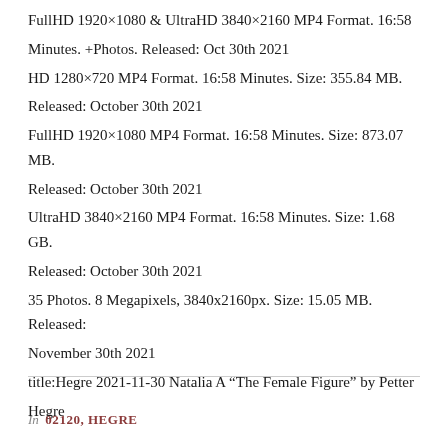FullHD 1920×1080 & UltraHD 3840×2160 MP4 Format. 16:58 Minutes. +Photos. Released: Oct 30th 2021
HD 1280×720 MP4 Format. 16:58 Minutes. Size: 355.84 MB. Released: October 30th 2021
FullHD 1920×1080 MP4 Format. 16:58 Minutes. Size: 873.07 MB. Released: October 30th 2021
UltraHD 3840×2160 MP4 Format. 16:58 Minutes. Size: 1.68 GB. Released: October 30th 2021
35 Photos. 8 Megapixels, 3840x2160px. Size: 15.05 MB. Released: November 30th 2021
title:Hegre 2021-11-30 Natalia A “The Female Figure” by Petter Hegre
In 02120, HEGRE